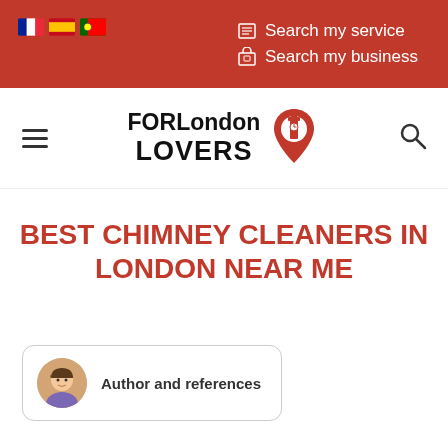Search my service | Search my business
[Figure (logo): FORLondon LOVERS logo with Big Ben location pin icon]
BEST CHIMNEY CLEANERS IN LONDON NEAR ME
Author and references